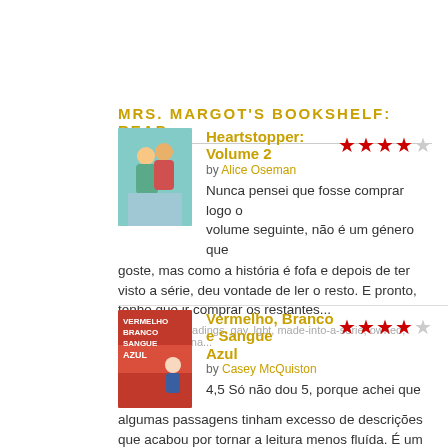MRS. MARGOT'S BOOKSHELF: READ
Heartstopper: Volume 2 by Alice Oseman — 4 stars — Nunca pensei que fosse comprar logo o volume seguinte, não é um género que goste, mas como a história é fofa e depois de ter visto a série, deu vontade de ler o resto. E pronto, tenho que ir comprar os restantes...
tagged: 2022readings, gay, lgbt, made-into-a-serie, owned, purchased, teena...
Vermelho, Branco e Sangue Azul by Casey McQuiston — 4 stars — 4,5 Só não dou 5, porque achei que algumas passagens tinham excesso de descrições que acabou por tornar a leitura menos fluída. É um livro muito fofo, demasiado